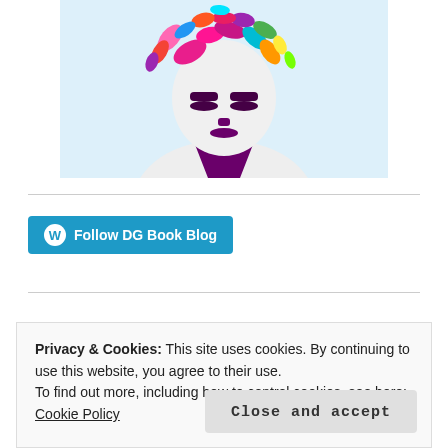[Figure (illustration): Stylized illustration of a woman with colorful floral/feather headpiece, purple facial features, against a light blue background. Only the upper body and face visible.]
Follow DG Book Blog
Privacy & Cookies: This site uses cookies. By continuing to use this website, you agree to their use.
To find out more, including how to control cookies, see here: Cookie Policy
Close and accept